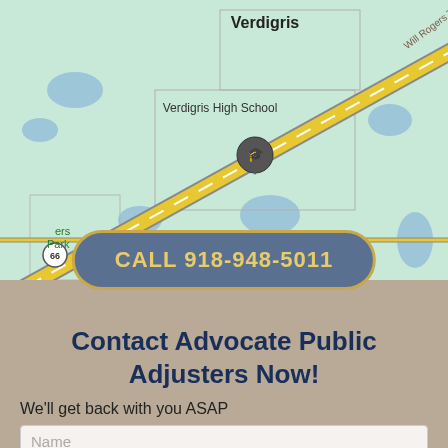[Figure (map): Google Maps screenshot showing Verdigris, Oklahoma area with Verdigris High School marked, Will Rogers Turnpike road, Route 66, and areas labeled 'ers Park'. Yellow highway running diagonally through a teal-colored map.]
CALL 918-948-5011
Contact Advocate Public Adjusters Now!
We'll get back with you ASAP
Name